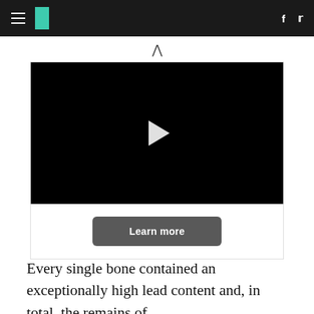HuffPost navigation with hamburger menu, logo, Facebook and Twitter icons
[Figure (screenshot): Video player with black screen and white play button triangle in center, with a 'Learn more' dark grey button below]
Every single bone contained an exceptionally high lead content and, in total, the remains of